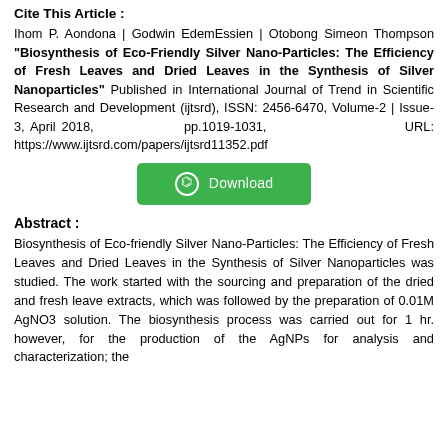Cite This Article :
Ihom P. Aondona | Godwin EdemEssien | Otobong Simeon Thompson "Biosynthesis of Eco-Friendly Silver Nano-Particles: The Efficiency of Fresh Leaves and Dried Leaves in the Synthesis of Silver Nanoparticles" Published in International Journal of Trend in Scientific Research and Development (ijtsrd), ISSN: 2456-6470, Volume-2 | Issue-3, April 2018, pp.1019-1031, URL: https://www.ijtsrd.com/papers/ijtsrd11352.pdf
Abstract :
Biosynthesis of Eco-friendly Silver Nano-Particles: The Efficiency of Fresh Leaves and Dried Leaves in the Synthesis of Silver Nanoparticles was studied. The work started with the sourcing and preparation of the dried and fresh leave extracts, which was followed by the preparation of 0.01M AgNO3 solution. The biosynthesis process was carried out for 1 hr. however, for the production of the AgNPs for analysis and characterization; the